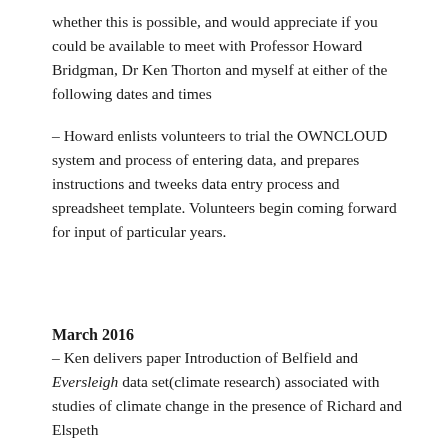whether this is possible, and would appreciate if you could be available to meet with Professor Howard Bridgman, Dr Ken Thorton and myself at either of the following dates and times
– Howard enlists volunteers to trial the OWNCLOUD system and process of entering data, and prepares instructions and tweeks data entry process and spreadsheet template. Volunteers begin coming forward for input of particular years.
March 2016
– Ken delivers paper Introduction of Belfield and Eversleigh data set(climate research) associated with studies of climate change in the presence of Richard and Elspeth
– Volunteers drafted poster and text is drafted
– Linden suggested a co-authored article for the Conversation to